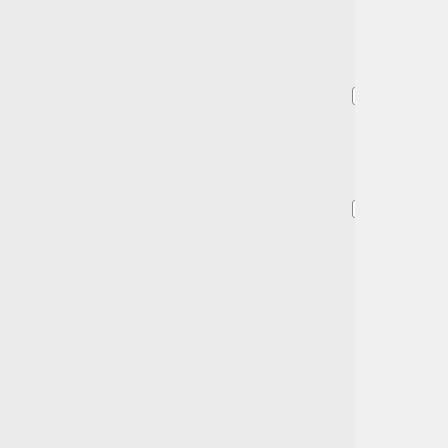==Two new scientific journals?==
[http://online.wsj.com/article/SB10001424052970203946904574300352699458552.html “On Navel Lint and Other Scientific Triumphs”]<br>
by Melinda Beck, <i>The Wall Street Journal</i>, July 21, 2009<br>